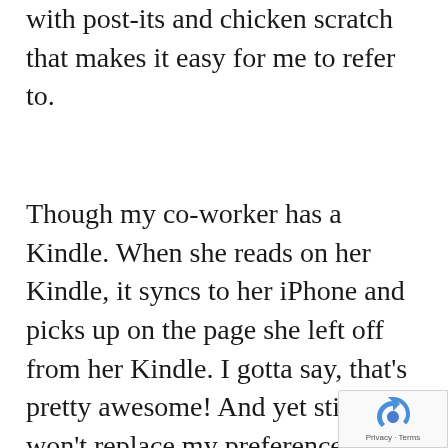with post-its and chicken scratch that makes it easy for me to refer to.
Though my co-worker has a Kindle. When she reads on her Kindle, it syncs to her iPhone and picks up on the page she left off from her Kindle. I gotta say, that's pretty awesome! And yet still, it won't replace my preference for a hard-cov